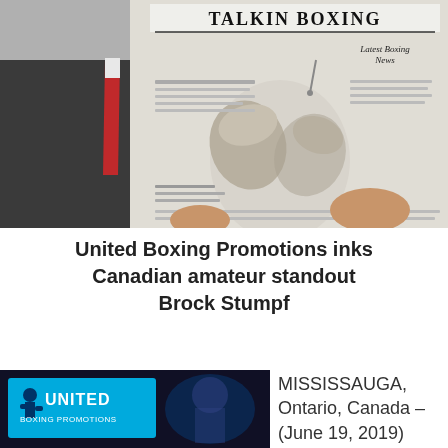[Figure (photo): Person in suit holding a newspaper called 'Talkin Boxing' with boxing gloves illustration and 'Latest Boxing News' text]
United Boxing Promotions inks Canadian amateur standout Brock Stumpf
[Figure (photo): United Boxing Promotions logo on dark background alongside a figure]
MISSISSAUGA, Ontario, Canada – (June 19, 2019)